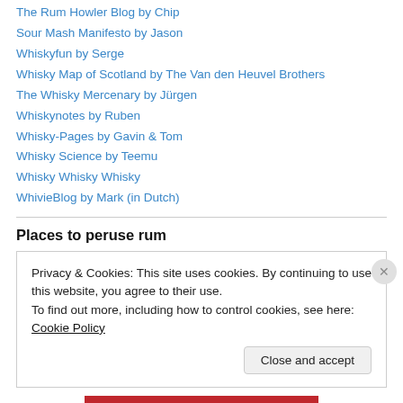The Rum Howler Blog by Chip
Sour Mash Manifesto by Jason
Whiskyfun by Serge
Whisky Map of Scotland by The Van den Heuvel Brothers
The Whisky Mercenary by Jürgen
Whiskynotes by Ruben
Whisky-Pages by Gavin & Tom
Whisky Science by Teemu
Whisky Whisky Whisky
WhivieBlog by Mark (in Dutch)
Places to peruse rum
Privacy & Cookies: This site uses cookies. By continuing to use this website, you agree to their use.
To find out more, including how to control cookies, see here: Cookie Policy